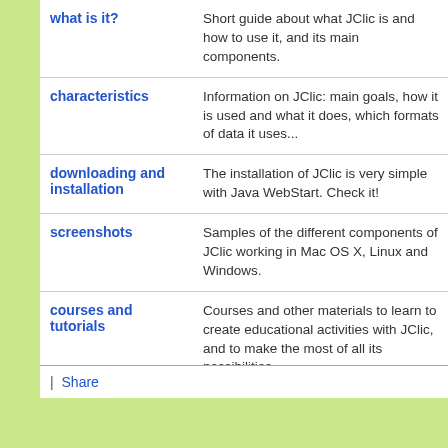| Link | Description |
| --- | --- |
| what is it? | Short guide about what JClic is and how to use it, and its main components. |
| characteristics | Information on JClic: main goals, how it is used and what it does, which formats of data it uses... |
| downloading and installation | The installation of JClic is very simple with Java WebStart. Check it! |
| screenshots | Samples of the different components of JClic working in Mac OS X, Linux and Windows. |
| courses and tutorials | Courses and other materials to learn to create educational activities with JClic, and to make the most of all its possibilities. |
| development | Access to the pages of the JClic development and translation project |
| FAQ | The most Frequently Asked Questions on JClic. |
| Share